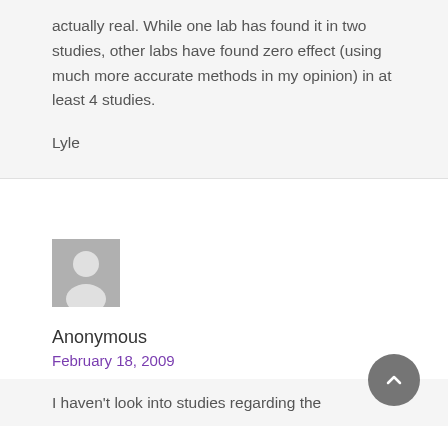actually real. While one lab has found it in two studies, other labs have found zero effect (using much more accurate methods in my opinion) in at least 4 studies.
Lyle
[Figure (illustration): Generic user avatar placeholder icon — grey square with a white silhouette of a person (head and shoulders)]
Anonymous
February 18, 2009
I haven't look into studies regarding the